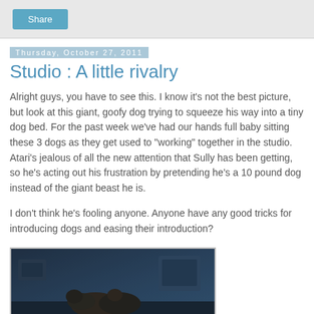Share
Thursday, October 27, 2011
Studio : A little rivalry
Alright guys, you have to see this. I know it's not the best picture, but look at this giant, goofy dog trying to squeeze his way into a tiny dog bed. For the past week we've had our hands full baby sitting these 3 dogs as they get used to "working" together in the studio. Atari's jealous of all the new attention that Sully has been getting, so he's acting out his frustration by pretending he's a 10 pound dog instead of the giant beast he is.
I don't think he's fooling anyone. Anyone have any good tricks for introducing dogs and easing their introduction?
[Figure (photo): A dark, dimly lit photo showing dogs in what appears to be a studio setting with equipment visible in the background.]